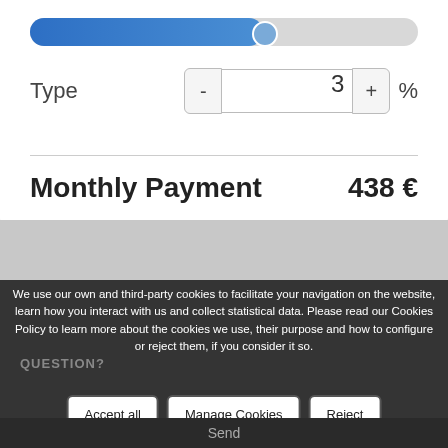[Figure (other): Horizontal slider bar showing approximately 60% fill, with blue filled portion and grey unfilled portion, and a circular thumb at the fill boundary]
Type   -   3   +   %
Monthly Payment   438 €
We use our own and third-party cookies to facilitate your navigation on the website, learn how you interact with us and collect statistical data. Please read our Cookies Policy to learn more about the cookies we use, their purpose and how to configure or reject them, if you consider it so.
QUESTION?
Accept all   Manage Cookies   Reject
Send